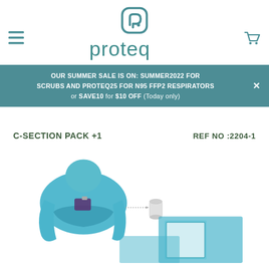[Figure (logo): Proteq logo with teal rounded square icon above and 'proteq' text in teal color below]
OUR SUMMER SALE IS ON: SUMMER2022 FOR SCRUBS AND PROTEQ25 FOR N95 FFP2 RESPIRATORS or SAVE10 for $10 OFF (Today only)
C-SECTION PACK +1
REF NO :2204-1
[Figure (illustration): Illustration of a C-section surgical pack components in blue, showing draped patient area and surgical drape pack spread out]